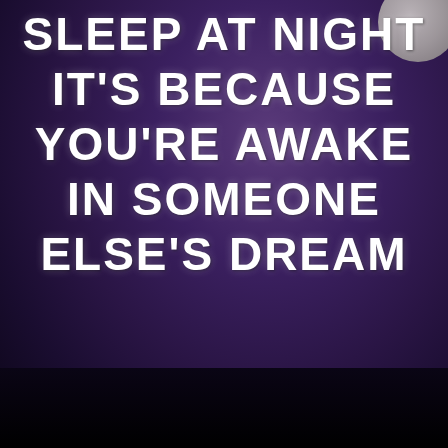[Figure (illustration): Dark purple gradient background with a partial moon visible in the upper right corner, and a black bar at the bottom. Inspirational quote text in white bold uppercase letters.]
SLEEP AT NIGHT IT'S BECAUSE YOU'RE AWAKE IN SOMEONE ELSE'S DREAM